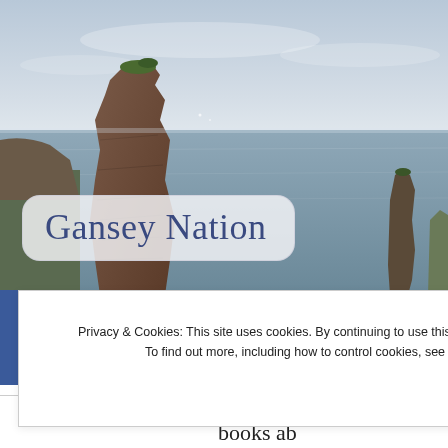[Figure (photo): Coastal landscape photograph showing dramatic rocky sea stacks rising from the ocean, with a grey sky and calm sea in the background. The rocks are layered sedimentary formations with green vegetation on top.]
Gansey Nation
Privacy & Cookies: This site uses cookies. By continuing to use this website, you agree to their use.
To find out more, including how to control cookies, see here: About Cookies
Close and accept
Privacy · Terms
There are a number of books ab